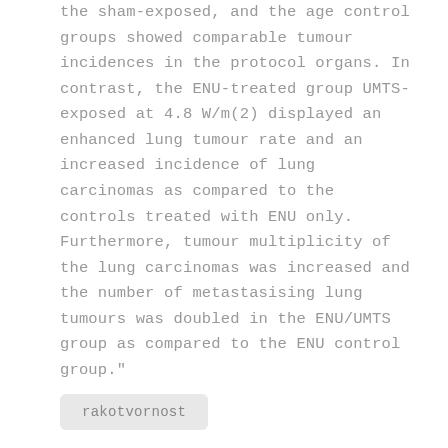the sham-exposed, and the age control groups showed comparable tumour incidences in the protocol organs. In contrast, the ENU-treated group UMTS-exposed at 4.8 W/m(2) displayed an enhanced lung tumour rate and an increased incidence of lung carcinomas as compared to the controls treated with ENU only. Furthermore, tumour multiplicity of the lung carcinomas was increased and the number of metastasising lung tumours was doubled in the ENU/UMTS group as compared to the ENU control group."
rakotvornost